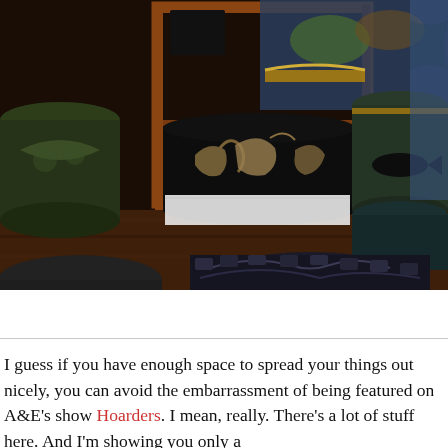[Figure (photo): A collection of antique decorative boxes and containers, many with ornate painted designs featuring animals and floral patterns. They are arranged around a small wooden shelf/table. The boxes appear to be vintage hat boxes or storage containers with dark painted scenes including squirrels, fish, and other motifs.]
I guess if you have enough space to spread your things out nicely, you can avoid the embarrassment of being featured on A&E's show Hoarders. I mean, really. There's a lot of stuff here. And I'm showing you only a